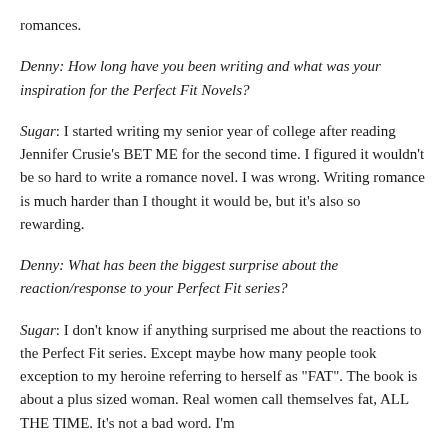romances.
Denny: How long have you been writing and what was your inspiration for the Perfect Fit Novels?
Sugar: I started writing my senior year of college after reading Jennifer Crusie’s BET ME for the second time. I figured it wouldn’t be so hard to write a romance novel. I was wrong. Writing romance is much harder than I thought it would be, but it’s also so rewarding.
Denny: What has been the biggest surprise about the reaction/response to your Perfect Fit series?
Sugar: I don’t know if anything surprised me about the reactions to the Perfect Fit series. Except maybe how many people took exception to my heroine referring to herself as “FAT”. The book is about a plus sized woman. Real women call themselves fat, ALL THE TIME. It’s not a bad word. I’m